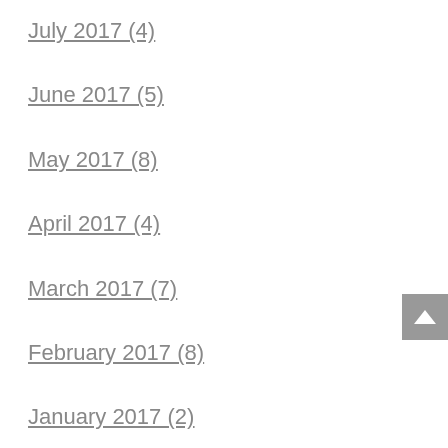July 2017 (4)
June 2017 (5)
May 2017 (8)
April 2017 (4)
March 2017 (7)
February 2017 (8)
January 2017 (2)
December 2016 (3)
November 2016 (8)